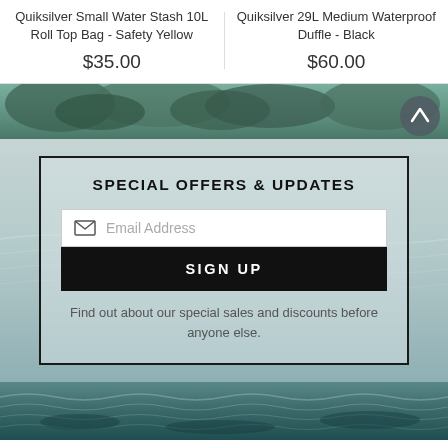Quiksilver Small Water Stash 10L Roll Top Bag - Safety Yellow
$35.00
Quiksilver 29L Medium Waterproof Duffle - Black
$60.00
[Figure (photo): Landscape banner with trees and foliage, scroll-to-top arrow button on right]
SPECIAL OFFERS & UPDATES
Email Address
SIGN UP
Find out about our special sales and discounts before anyone else.
[Figure (photo): Water surface photo at bottom of page]